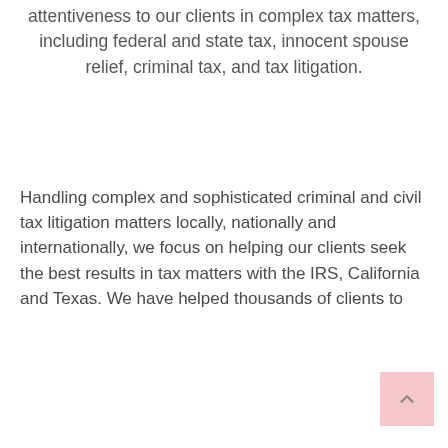attentiveness to our clients in complex tax matters, including federal and state tax, innocent spouse relief, criminal tax, and tax litigation.
Handling complex and sophisticated criminal and civil tax litigation matters locally, nationally and internationally, we focus on helping our clients seek the best results in tax matters with the IRS, California and Texas. We have helped thousands of clients to